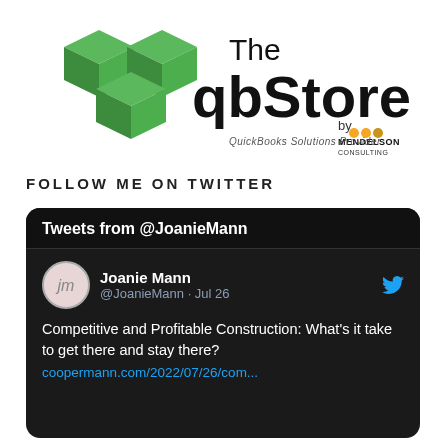[Figure (logo): The qbStore logo with green 3D cube shapes and text 'The qbStore by Mendelson Consulting, QuickBooks Solutions Provider']
FOLLOW ME ON TWITTER
[Figure (screenshot): Twitter widget showing tweets from @JoanieMann. Tweet by Joanie Mann @JoanieMann - Jul 26: Competitive and Profitable Construction: What's it take to get there and stay there? coopermann.com/2022/07/26/com...]